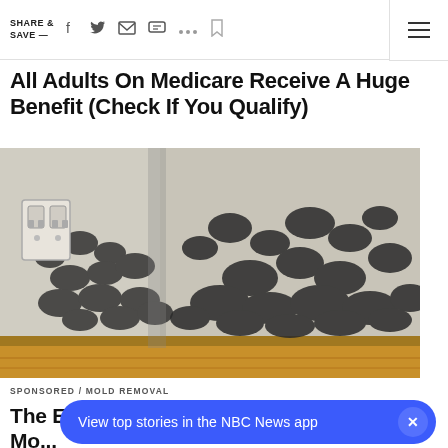SHARE & SAVE
All Adults On Medicare Receive A Huge Benefit (Check If You Qualify)
[Figure (photo): Photo of black mold growing on the corner walls of a room near electrical outlets and wood baseboard flooring]
SPONSORED / MOLD REMOVAL
The Easiest Ways To Get Rid Of House Mo...
View top stories in the NBC News app